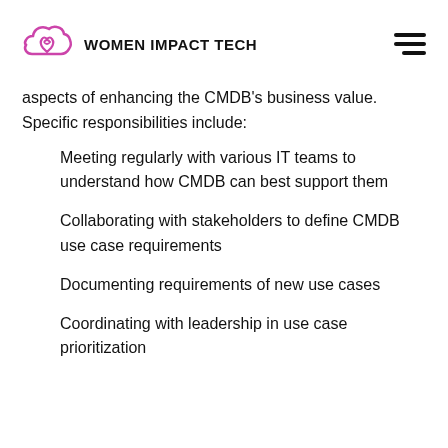WOMEN IMPACT TECH
aspects of enhancing the CMDB's business value. Specific responsibilities include:
Meeting regularly with various IT teams to understand how CMDB can best support them
Collaborating with stakeholders to define CMDB use case requirements
Documenting requirements of new use cases
Coordinating with leadership in use case prioritization